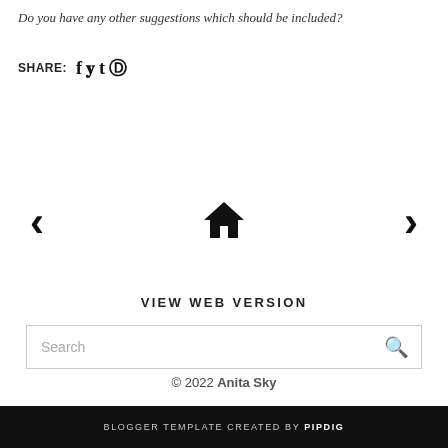Do you have any other suggestions which should be included?
SHARE: f t t p
[Figure (infographic): Navigation row with left arrow, home icon, and right arrow]
VIEW WEB VERSION
Search
© 2022 Anita Sky
BLOGGER TEMPLATE CREATED BY pipdig